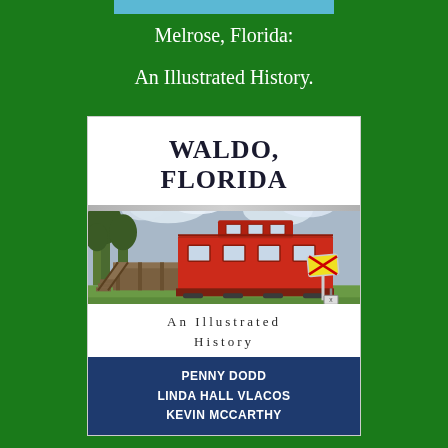Melrose, Florida:
An Illustrated History.
[Figure (illustration): Book cover of 'Waldo, Florida: An Illustrated History' showing a red caboose/train car on display with railroad crossing signs, wooden ramp and steps, green grass, and cloudy sky. Authors: Penny Dodd, Linda Hall Vlacos, Kevin McCarthy.]